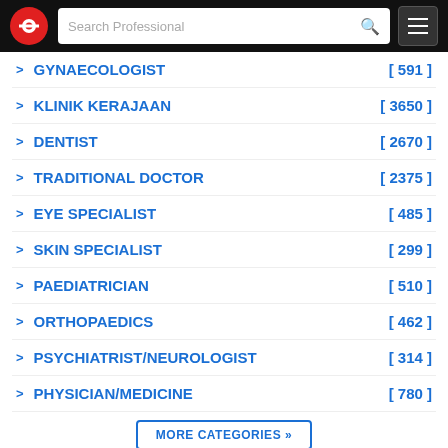Search Professional
GYNAECOLOGIST [ 591 ]
KLINIK KERAJAAN [ 3650 ]
DENTIST [ 2670 ]
TRADITIONAL DOCTOR [ 2375 ]
EYE SPECIALIST [ 485 ]
SKIN SPECIALIST [ 299 ]
PAEDIATRICIAN [ 510 ]
ORTHOPAEDICS [ 462 ]
PSYCHIATRIST/NEUROLOGIST [ 314 ]
PHYSICIAN/MEDICINE [ 780 ]
MORE CATEGORIES »